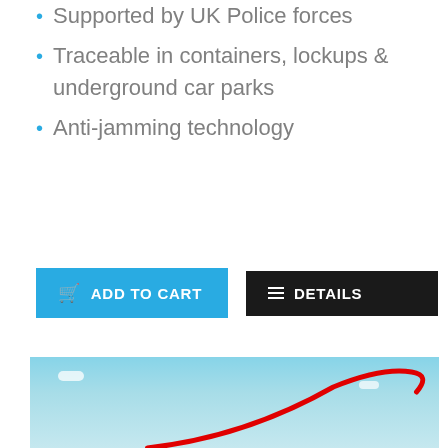Supported by UK Police forces
Traceable in containers, lockups & underground car parks
Anti-jamming technology
[Figure (screenshot): Two buttons: blue 'ADD TO CART' button and black 'DETAILS' button]
[Figure (photo): Sky background with blue gradient and clouds, with a red curved line (boomerang/drone shape) in the foreground]